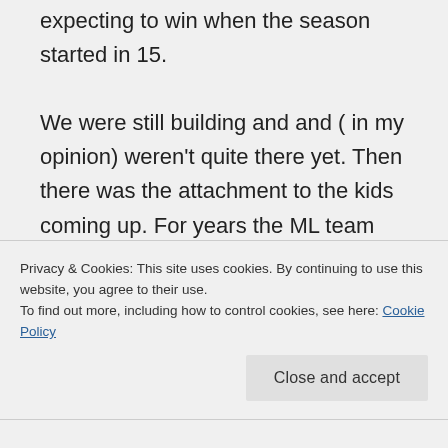expecting to win when the season started in 15. We were still building and and ( in my opinion) weren't quite there yet. Then there was the attachment to the kids coming up. For years the ML team was so bad and most of us couldn't even watch anyway. So we focused on the minor leagues. The potential for a great team was growing right before our eyes.
Privacy & Cookies: This site uses cookies. By continuing to use this website, you agree to their use. To find out more, including how to control cookies, see here: Cookie Policy